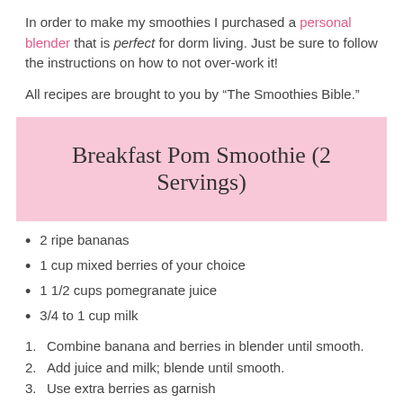In order to make my smoothies I purchased a personal blender that is perfect for dorm living. Just be sure to follow the instructions on how to not over-work it!
All recipes are brought to you by “The Smoothies Bible.”
Breakfast Pom Smoothie (2 Servings)
2 ripe bananas
1 cup mixed berries of your choice
1 1/2 cups pomegranate juice
3/4 to 1 cup milk
Combine banana and berries in blender until smooth.
Add juice and milk; blende until smooth.
Use extra berries as garnish